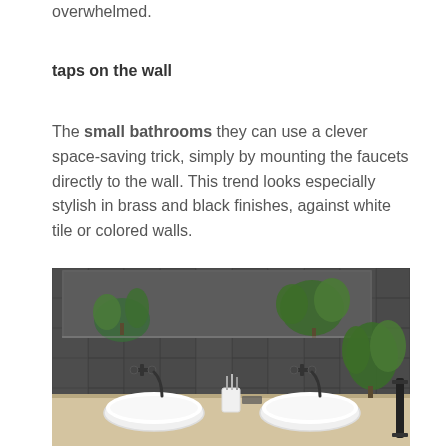overwhelmed.
taps on the wall
The small bathrooms they can use a clever space-saving trick, simply by mounting the faucets directly to the wall. This trend looks especially stylish in brass and black finishes, against white tile or colored walls.
[Figure (photo): Modern bathroom with dark grey tiled walls, two round white vessel sinks on a light wooden counter, wall-mounted black faucets, a large mirror, and green tropical plants as decoration.]